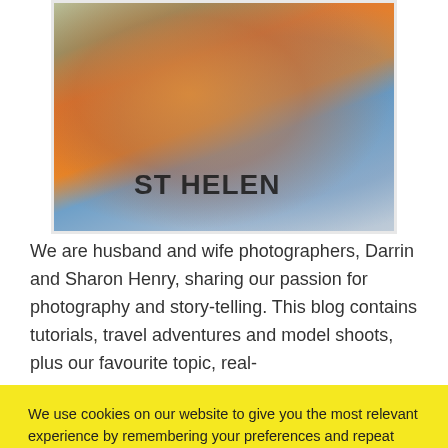[Figure (photo): Photo of two people, one wearing an orange t-shirt with 'ST HELEN' text visible, outdoors with backpack, cropped at top]
We are husband and wife photographers, Darrin and Sharon Henry, sharing our passion for photography and story-telling. This blog contains tutorials, travel adventures and model shoots, plus our favourite topic, real-
We use cookies on our website to give you the most relevant experience by remembering your preferences and repeat visits. By clicking “Accept All”, you consent to the use of ALL the cookies. However, you may visit "Cookie Settings" to provide a controlled consent.
Cookie Settings | Accept All
Privacy & Cookie Policy